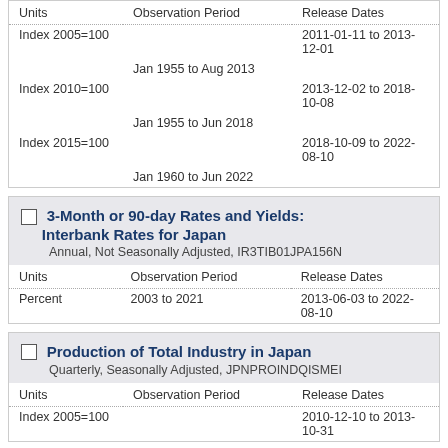| Units | Observation Period | Release Dates |
| --- | --- | --- |
| Index 2005=100 |  | 2011-01-11 to 2013-12-01 |
|  | Jan 1955 to Aug 2013 |  |
| Index 2010=100 |  | 2013-12-02 to 2018-10-08 |
|  | Jan 1955 to Jun 2018 |  |
| Index 2015=100 |  | 2018-10-09 to 2022-08-10 |
|  | Jan 1960 to Jun 2022 |  |
3-Month or 90-day Rates and Yields: Interbank Rates for Japan
Annual, Not Seasonally Adjusted, IR3TIB01JPA156N
| Units | Observation Period | Release Dates |
| --- | --- | --- |
| Percent | 2003 to 2021 | 2013-06-03 to 2022-08-10 |
Production of Total Industry in Japan
Quarterly, Seasonally Adjusted, JPNPROINDQISMEI
| Units | Observation Period | Release Dates |
| --- | --- | --- |
| Index 2005=100 |  | 2010-12-10 to 2013-10-31 |